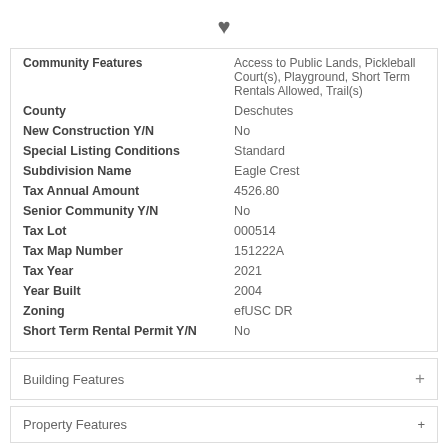[Figure (illustration): Heart icon (favorite/bookmark symbol) centered at top of page]
| Field | Value |
| --- | --- |
| Community Features | Access to Public Lands, Pickleball Court(s), Playground, Short Term Rentals Allowed, Trail(s) |
| County | Deschutes |
| New Construction Y/N | No |
| Special Listing Conditions | Standard |
| Subdivision Name | Eagle Crest |
| Tax Annual Amount | 4526.80 |
| Senior Community Y/N | No |
| Tax Lot | 000514 |
| Tax Map Number | 151222A |
| Tax Year | 2021 |
| Year Built | 2004 |
| Zoning | efUSC DR |
| Short Term Rental Permit Y/N | No |
Building Features
Property Features